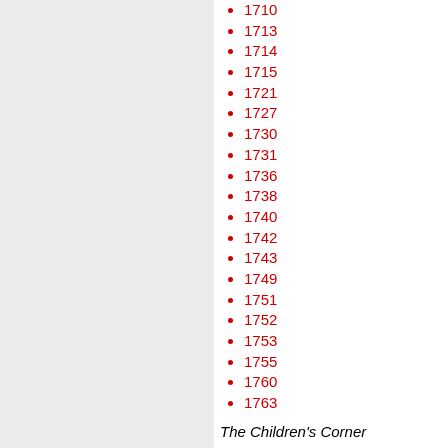1710
1713
1714
1715
1721
1727
1730
1731
1736
1738
1740
1742
1743
1749
1751
1752
1753
1755
1760
1763
The Children's Corner